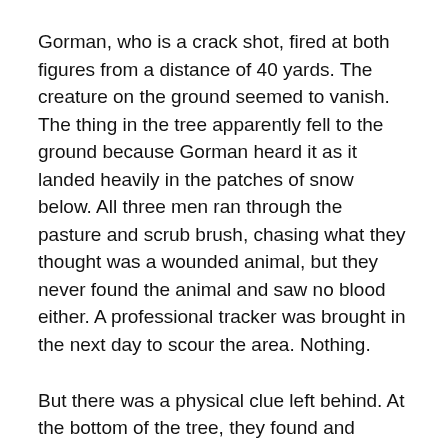Gorman, who is a crack shot, fired at both figures from a distance of 40 yards. The creature on the ground seemed to vanish. The thing in the tree apparently fell to the ground because Gorman heard it as it landed heavily in the patches of snow below. All three men ran through the pasture and scrub brush, chasing what they thought was a wounded animal, but they never found the animal and saw no blood either. A professional tracker was brought in the next day to scour the area. Nothing.
But there was a physical clue left behind. At the bottom of the tree, they found and photographed a weird footprint, or rather, claw print. The print left in the snow was from something large. It had three digits with what they guessed were sharp claws on the end. Later analysis and comparison of the print